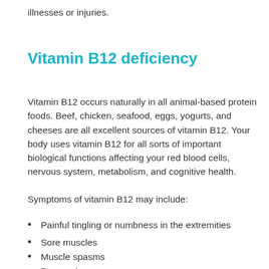illnesses or injuries.
Vitamin B12 deficiency
Vitamin B12 occurs naturally in all animal-based protein foods. Beef, chicken, seafood, eggs, yogurts, and cheeses are all excellent sources of vitamin B12. Your body uses vitamin B12 for all sorts of important biological functions affecting your red blood cells, nervous system, metabolism, and cognitive health.
Symptoms of vitamin B12 may include:
Painful tingling or numbness in the extremities
Sore muscles
Muscle spasms
Depression
Fatigue